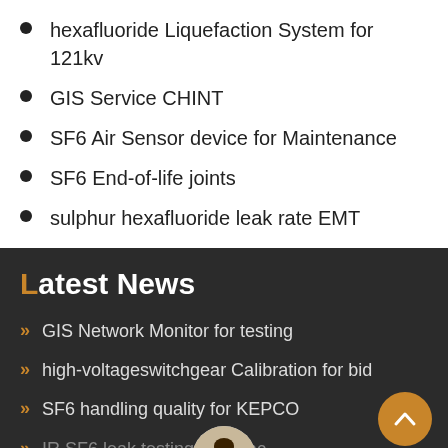hexafluoride Liquefaction System for 121kv
GIS Service CHINT
SF6 Air Sensor device for Maintenance
SF6 End-of-life joints
sulphur hexafluoride leak rate EMT
Latest News
GIS Network Monitor for testing
high-voltageswitchgear Calibration for bid
SF6 handling quality for KEPCO
IR SF6 leak testing for Hitac
SF6 handling process for powergrid
Leave Message   Chat Online